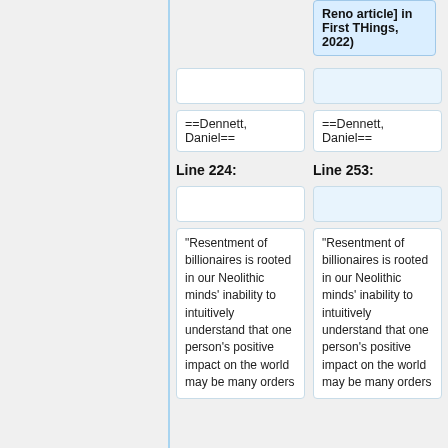Reno article] in First THings, 2022)
==Dennett, Daniel==
==Dennett, Daniel==
Line 224:
Line 253:
"Resentment of billionaires is rooted in our Neolithic minds' inability to intuitively understand that one person's positive impact on the world may be many orders
"Resentment of billionaires is rooted in our Neolithic minds' inability to intuitively understand that one person's positive impact on the world may be many orders